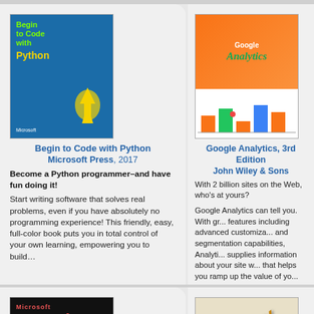[Figure (illustration): Book cover: Begin to Code with Python, blue cover with Python logo and rocket]
Begin to Code with Python Microsoft Press, 2017
Become a Python programmer–and have fun doing it! Start writing software that solves real problems, even if you have absolutely no programming experience! This friendly, easy, full-color book puts you in total control of your own learning, empowering you to build…
[Figure (illustration): Book cover: Google Analytics, 3rd Edition, orange and green cover with analytics chart]
Google Analytics, 3rd Edition John Wiley & Sons
With 2 billion sites on the Web, who's at yours?

Google Analytics can tell you. With great features including advanced customization and segmentation capabilities, Analytics supplies information about your site w... that helps you ramp up the value of yo... And like its two previous editions, this
[Figure (illustration): Book cover: CLR via C# (Pro-Developer), dark/black cover]
CLR via C# (Pro-Developer) Microsoft Press, 2010
[Figure (illustration): Book cover: Web2py Enterprise Web Framework, tan/cream cover]
Web2py Enterprise Web Framework